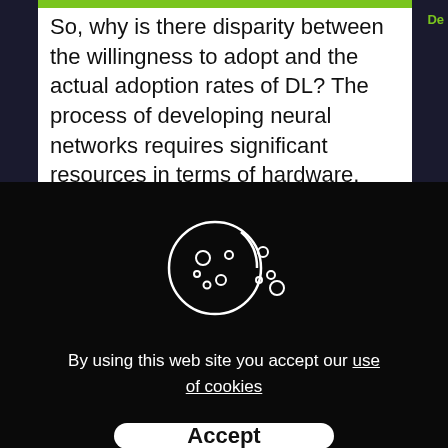So, why is there disparity between the willingness to adopt and the actual adoption rates of DL? The process of developing neural networks requires significant resources in terms of hardware, niche expertise, and data.
[Figure (illustration): Cookie icon — a round cookie with a bite taken out of it, with small crumbs/dots scattered nearby, drawn in white outline on a dark background.]
By using this web site you accept our use of cookies
Accept